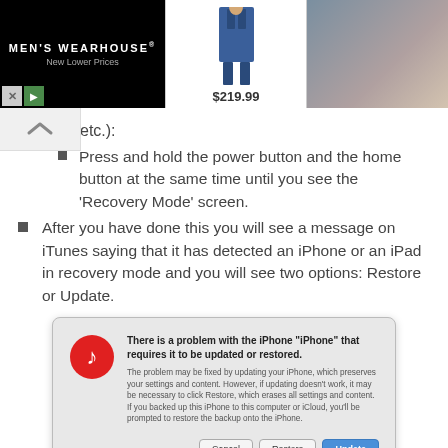[Figure (screenshot): Men's Wearhouse advertisement banner showing a suit priced at $219.99 and a couple in formal wear]
etc.):
Press and hold the power button and the home button at the same time until you see the 'Recovery Mode' screen.
After you have done this you will see a message on iTunes saying that it has detected an iPhone or an iPad in recovery mode and you will see two options: Restore or Update.
[Figure (screenshot): iTunes dialog box: There is a problem with the iPhone 'iPhone' that requires it to be updated or restored. Buttons: Cancel, Restore, Update]
You will choose Update and your problem should be